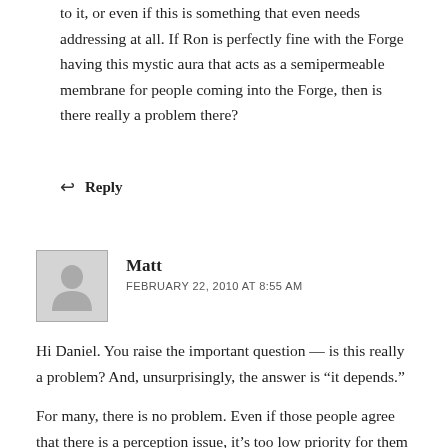to it, or even if this is something that even needs addressing at all. If Ron is perfectly fine with the Forge having this mystic aura that acts as a semipermeable membrane for people coming into the Forge, then is there really a problem there?
↩ Reply
Matt
FEBRUARY 22, 2010 AT 8:55 AM
Hi Daniel. You raise the important question — is this really a problem? And, unsurprisingly, the answer is “it depends.”
For many, there is no problem. Even if those people agree that there is a perception issue, it’s too low priority for them to do anything about it. I